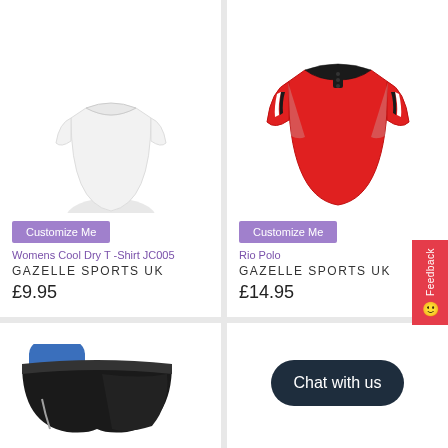[Figure (photo): White women's cool dry t-shirt product photo, cropped at top]
Customize Me
Womens Cool Dry T -Shirt JC005
GAZELLE SPORTS UK
£9.95
[Figure (photo): Red, black and white Rio Polo shirt product photo]
Customize Me
Rio Polo
GAZELLE SPORTS UK
£14.95
[Figure (photo): Black and blue running shorts/pants product photo, partially cropped]
[Figure (other): Chat with us button — dark navy rounded pill shape]
Chat with us